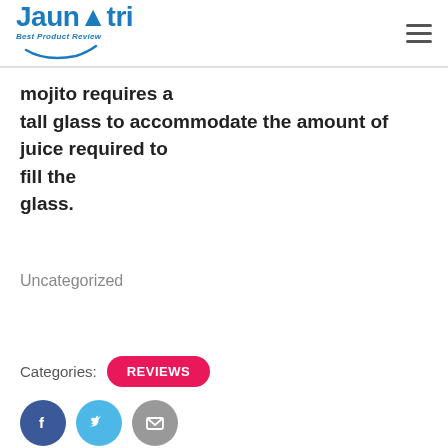Jaunatri - Best Product Review
mojito requires a tall glass to accommodate the amount of juice required to fill the glass.
Uncategorized
Categories: REVIEWS
[Figure (other): Social share buttons: Facebook (dark blue circle with f icon), Twitter (light blue circle with bird icon), Email (gray circle with envelope icon)]